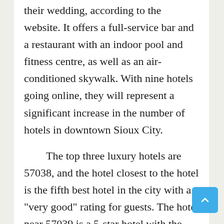their wedding, according to the website. It offers a full-service bar and a restaurant with an indoor pool and fitness centre, as well as an air-conditioned skywalk. With nine hotels going online, they will represent a significant increase in the number of hotels in downtown Sioux City.

The top three luxury hotels are 57038, and the hotel closest to the hotel is the fifth best hotel in the city with a "very good" rating for guests. The hotel near 57039 is a 5-star hotel with the highest rating on the hotel website for guests.